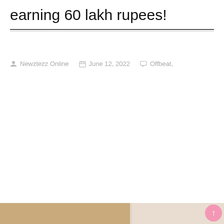earning 60 lakh rupees!
Newztezz Online  June 12, 2022  Offbeat,
[Figure (photo): Partial image strip visible at the bottom of the page showing a blurred photograph]